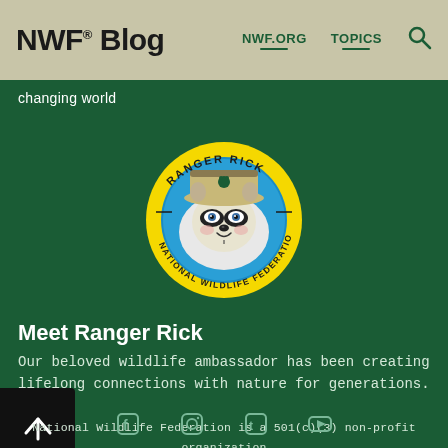NWF® Blog  NWF.ORG  TOPICS
changing world
[Figure (logo): Ranger Rick circular logo — yellow ring with 'RANGER RICK' at top and 'NATIONAL WILDLIFE FEDERATION' at bottom, raccoon character wearing ranger hat at center on blue background]
Meet Ranger Rick
Our beloved wildlife ambassador has been creating lifelong connections with nature for generations.
National Wildlife Federation is a 501(c)(3) non-profit organization PO Box 1583, Merrifield VA 22116-1583 1-800-822-9919 Privacy Policy | Terms of Use